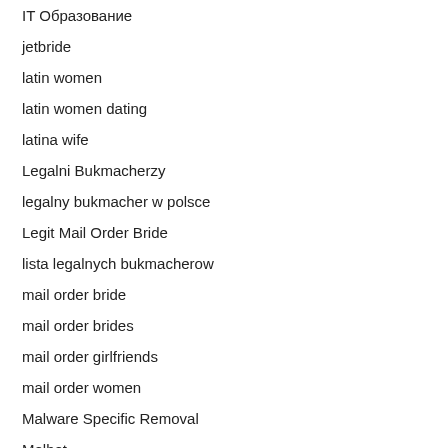IT Образование
jetbride
latin women
latin women dating
latina wife
Legalni Bukmacherzy
legalny bukmacher w polsce
Legit Mail Order Bride
lista legalnych bukmacherow
mail order bride
mail order brides
mail order girlfriends
mail order women
Malware Specific Removal
Melbet